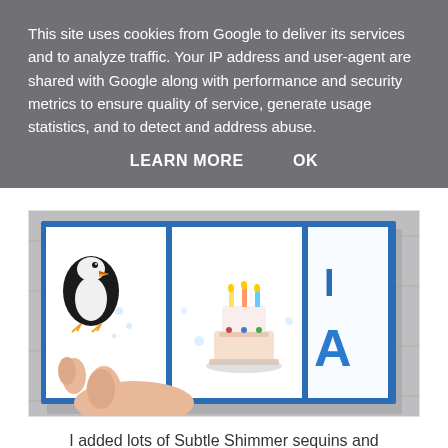This site uses cookies from Google to deliver its services and to analyze traffic. Your IP address and user-agent are shared with Google along with performance and security metrics to ensure quality of service, generate usage statistics, and to detect and address abuse.
LEARN MORE    OK
[Figure (photo): A hand holding a blue and white birthday card featuring illustrated puffin, birthday cake with candles, and large letter stickers spelling letters including I and A on a blue background. Photographed on a light wooden surface.]
I added lots of Subtle Shimmer sequins and a bow tied with White bakers twine to finish my card.